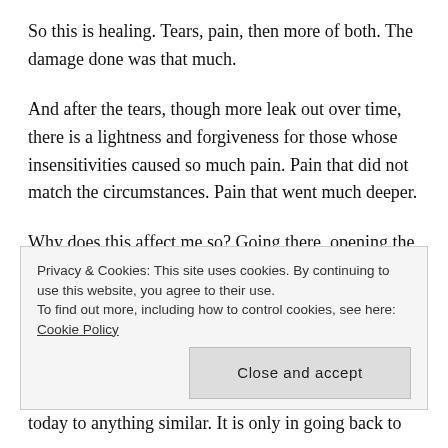So this is healing. Tears, pain, then more of both. The damage done was that much.
And after the tears, though more leak out over time, there is a lightness and forgiveness for those whose insensitivities caused so much pain. Pain that did not match the circumstances. Pain that went much deeper.
Why does this affect me so? Going there, opening the wounds, allowing the tears even if I don't at first understand them, frees pain to surface. Bitterness
Privacy & Cookies: This site uses cookies. By continuing to use this website, you agree to their use. To find out more, including how to control cookies, see here: Cookie Policy
Close and accept
today to anything similar. It is only in going back to